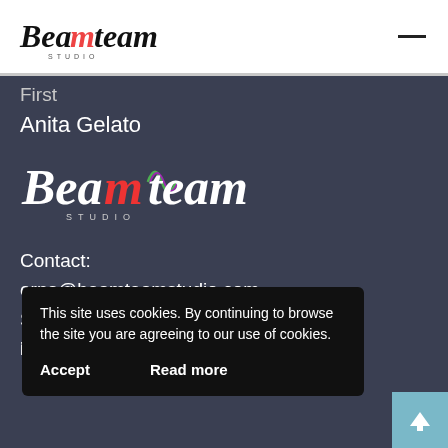[Figure (logo): Beam team Studio logo in header - script font with colorful accent]
First
Anita Gelato
[Figure (logo): Beam team Studio logo large white version on dark background]
Contact:
orna@beamteamstudio.com
Skype: orna_shafat
Mobile: +357-97796746
This site uses cookies. By continuing to browse the site you are agreeing to our use of cookies.
Accept   Read more